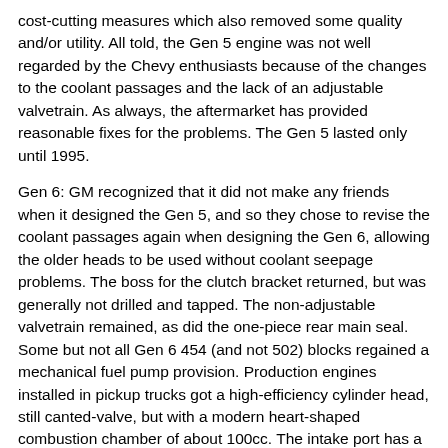cost-cutting measures which also removed some quality and/or utility. All told, the Gen 5 engine was not well regarded by the Chevy enthusiasts because of the changes to the coolant passages and the lack of an adjustable valvetrain. As always, the aftermarket has provided reasonable fixes for the problems. The Gen 5 lasted only until 1995.
Gen 6: GM recognized that it did not make any friends when it designed the Gen 5, and so they chose to revise the coolant passages again when designing the Gen 6, allowing the older heads to be used without coolant seepage problems. The boss for the clutch bracket returned, but was generally not drilled and tapped. The non-adjustable valvetrain remained, as did the one-piece rear main seal. Some but not all Gen 6 454 (and not 502) blocks regained a mechanical fuel pump provision. Production engines installed in pickup trucks got a high-efficiency cylinder head, still canted-valve, but with a modern heart-shaped combustion chamber of about 100cc. The intake port has a "ski jump" cast into it to promote swirling of the intake air flow. All production vehicles with a Gen 6 used a 454 version, but over-the-counter 502s are available. The Gen 6 is sometimes referred to as the "Gen Fix" because it fixed a number of issues that disappointed enthusiasts when the Gen 5 was released. As an added bonus, most if not all Gen 6 engines use hydraulic roller...